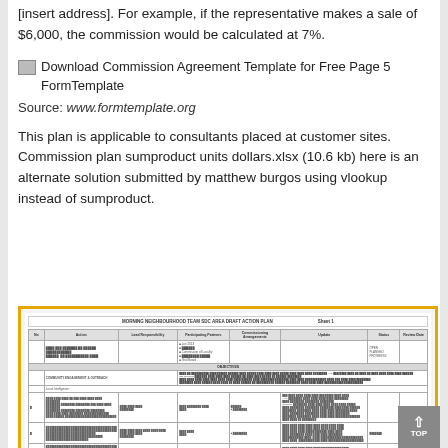[insert address]. For example, if the representative makes a sale of $6,000, the commission would be calculated at 7%.
[Figure (screenshot): Screenshot thumbnail labeled 'Download Commission Agreement Template for Free Page 5 FormTemplate' with broken image icon]
Source: www.formtemplate.org
This plan is applicable to consultants placed at customer sites. Commission plan sumproduct units dollars.xlsx (10.6 kb) here is an alternate solution submitted by matthew burgos using vlookup instead of sumproduct.
[Figure (table-as-image): Image of a document table titled 'MORNING NEIGHBOURHOOD TEAM SDC AREA DRAFT ACTION PLAN' with multiple columns including No, Action, Lead Responsibility, Participating Partners, Commissioning Arrangements, Update, Status, Review Date — shown inside a yellow/orange border frame]